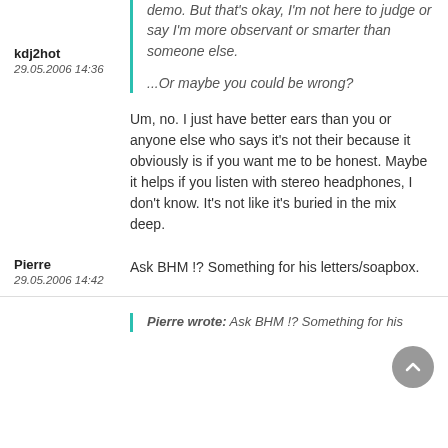demo. But that's okay, I'm not here to judge or say I'm more observant or smarter than someone else.

...Or maybe you could be wrong?
kdj2hot
29.05.2006 14:36
Um, no. I just have better ears than you or anyone else who says it's not their because it obviously is if you want me to be honest. Maybe it helps if you listen with stereo headphones, I don't know. It's not like it's buried in the mix deep.
Pierre
29.05.2006 14:42
Ask BHM !? Something for his letters/soapbox.
Pierre wrote: Ask BHM !? Something for his